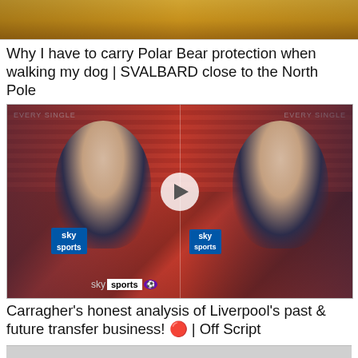[Figure (photo): Partial top image showing what appears to be a golden/brown jacket or outdoor gear, cropped at the bottom]
Why I have to carry Polar Bear protection when walking my dog | SVALBARD close to the North Pole
[Figure (screenshot): Video thumbnail showing Jamie Carragher appearing twice (split screen) in front of Old Trafford stadium, holding Sky Sports microphones. A play button is overlaid in the center. A Sky Sports logo bar is at the bottom.]
Carragher's honest analysis of Liverpool's past & future transfer business! 🔴 | Off Script
[Figure (photo): Partial grey/light image at the bottom of the page, content not visible]